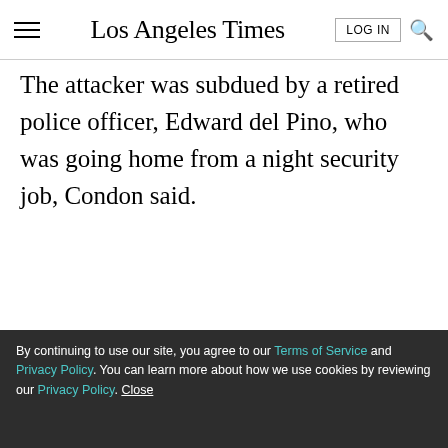Los Angeles Times — LOG IN [search]
The attacker was subdued by a retired police officer, Edward del Pino, who was going home from a night security job, Condon said.
ADVERTISEMENT
[Figure (other): Green advertisement banner with close (X) button]
LIMITED-TIME OFFER
$1 for 6 Months
SUBSCRIBE NOW
By continuing to use our site, you agree to our Terms of Service and Privacy Policy. You can learn more about how we use cookies by reviewing our Privacy Policy. Close